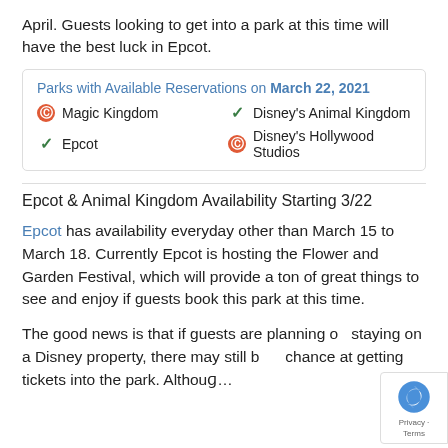April. Guests looking to get into a park at this time will have the best luck in Epcot.
Parks with Available Reservations on March 22, 2021
🚫 Magic Kingdom
✓ Disney's Animal Kingdom
✓ Epcot
🚫 Disney's Hollywood Studios
Epcot & Animal Kingdom Availability Starting 3/22
Epcot has availability everyday other than March 15 to March 18. Currently Epcot is hosting the Flower and Garden Festival, which will provide a ton of great things to see and enjoy if guests book this park at this time.
The good news is that if guests are planning on staying on a Disney property, there may still be a chance at getting tickets into the park. Although...